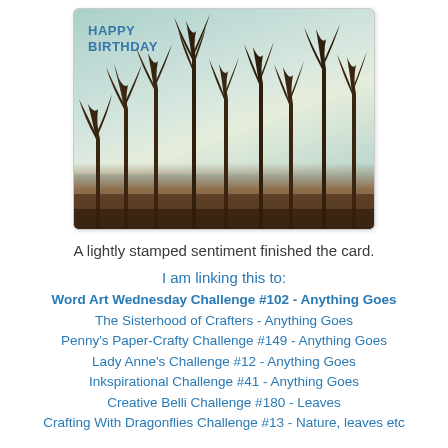[Figure (photo): A handmade birthday card with teal/green textured background resembling a sky, dark silhouetted plant/leaf stamped shapes along the bottom, and 'HAPPY BIRTHDAY' text in the upper left corner in blue.]
A lightly stamped sentiment finished the card.
I am linking this to:
Word Art Wednesday Challenge #102 - Anything Goes
The Sisterhood of Crafters - Anything Goes
Penny's Paper-Crafty Challenge #149 - Anything Goes
Lady Anne's Challenge #12 - Anything Goes
Inkspirational Challenge #41 - Anything Goes
Creative Belli Challenge #180 - Leaves
Crafting With Dragonflies Challenge #13 - Nature, leaves etc